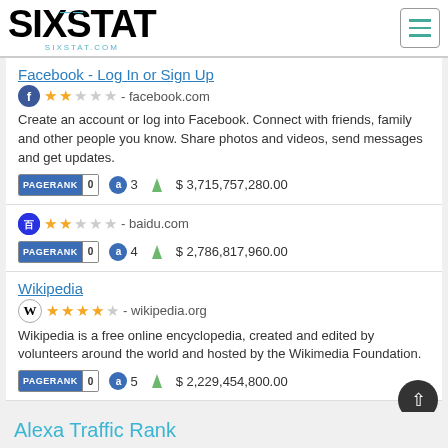[Figure (logo): SIXSTAT logo with sixstat.com text and teal accent marks]
Facebook - Log In or Sign Up | facebook.com | 2 stars | PageRank 0 | Alexa 3 | $3,715,757,280.00 | Create an account or log into Facebook. Connect with friends, family and other people you know. Share photos and videos, send messages and get updates.
baidu.com | 2 stars | PageRank 0 | Alexa 4 | $2,786,817,960.00
Wikipedia | wikipedia.org | 4 stars | PageRank 0 | Alexa 5 | $2,229,454,800.00 | Wikipedia is a free online encyclopedia, created and edited by volunteers around the world and hosted by the Wikimedia Foundation.
Alexa Traffic Rank